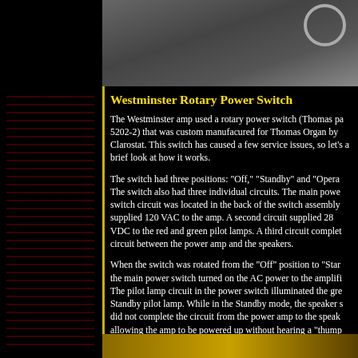[Figure (photo): Photo of Westminster rotary power switch assembly, gray/dark tones with wire visible in upper right corner]
Westminster Rotary Power Switch
The Westminster amp used a rotary power switch (Thomas pa 5202-2) that was custom manufacured for Thomas Organ by Clarostat. This switch has caused a few service issues, so let's a brief look at how it works.
The switch had three positions: "Off," "Standby" and "Opera The switch also had three individual circuits. The main powe switch circuit was located in the back of the switch assembly supplied 120 VAC to the amp. A second circuit supplied 28 VDC to the red and green pilot lamps. A third circuit complet circuit between the power amp and the speakers.
When the switch was rotated from the "Off" position to "Star the main power switch turned on the AC power to the amplifi The pilot lamp circuit in the power switch illuminated the gre Standby pilot lamp. While in the Standby mode, the speaker s did not complete the circuit from the power amp to the speak allowing the amp to be powered up without hearing a "thump from the speakers.
[Figure (photo): Bottom strip showing a golden/amber colored component]